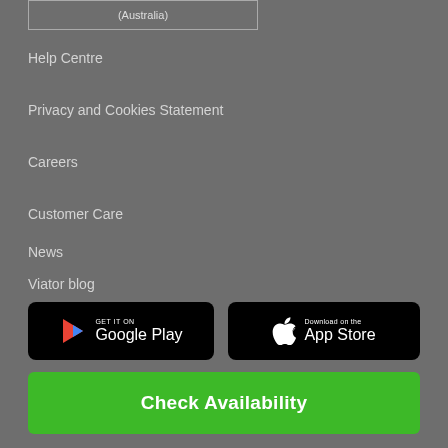(Australia)
Help Centre
Privacy and Cookies Statement
Careers
Customer Care
News
Viator blog
[Figure (screenshot): GET IT ON Google Play button - black rounded rectangle with Google Play logo and text]
[Figure (screenshot): Download on the App Store button - black rounded rectangle with Apple logo and text]
Check Availability